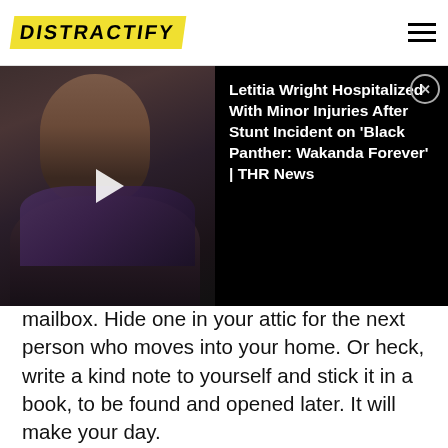DISTRACTIFY
[Figure (screenshot): Video thumbnail overlay showing a woman (Letitia Wright) on the left, and a dark box with the title text on the right. A play button is visible over the image.]
Letitia Wright Hospitalized With Minor Injuries After Stunt Incident on ‘Black Panther: Wakanda Forever’ | THR News
mailbox. Hide one in your attic for the next person who moves into your home. Or heck, write a kind note to yourself and stick it in a book, to be found and opened later. It will make your day.
Advertisement